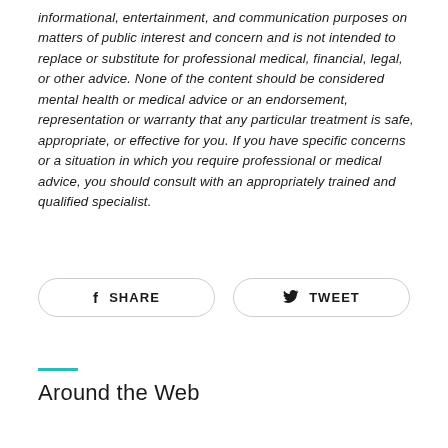informational, entertainment, and communication purposes on matters of public interest and concern and is not intended to replace or substitute for professional medical, financial, legal, or other advice. None of the content should be considered mental health or medical advice or an endorsement, representation or warranty that any particular treatment is safe, appropriate, or effective for you. If you have specific concerns or a situation in which you require professional or medical advice, you should consult with an appropriately trained and qualified specialist.
SHARE
TWEET
Around the Web